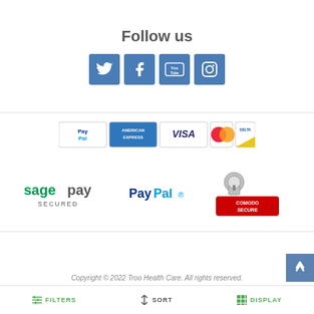Follow us
[Figure (other): Four social media icon buttons: Twitter, Facebook, YouTube, Instagram — all in blue square tiles]
[Figure (other): Payment method logos: PayPal, American Express, Visa, MasterCard, Delta]
[Figure (other): Security payment logos: Sage Pay Secured, PayPal, Comodo Secure]
Copyright © 2022 Troo Health Care. All rights reserved.
[Figure (other): Bottom navigation bar with FILTERS, SORT, DISPLAY buttons and scroll-to-top and Help widgets]